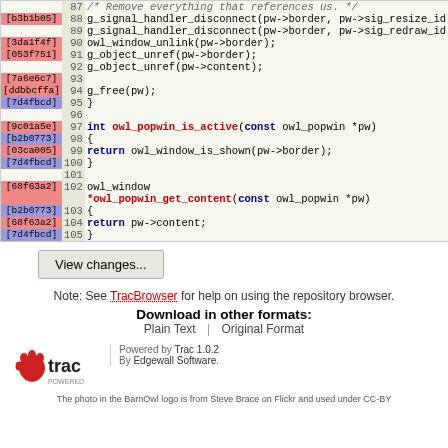[Figure (screenshot): Source code viewer showing lines 87-105 of C code with revision hash annotations in colored sidebar, line numbers, and syntax highlighting]
View changes...
Note: See TracBrowser for help on using the repository browser.
Download in other formats:
Plain Text | Original Format
Powered by Trac 1.0.2 By Edgewall Software. The photo in the BarnOwl logo is from Steve Brace on Flickr and used under CC-BY